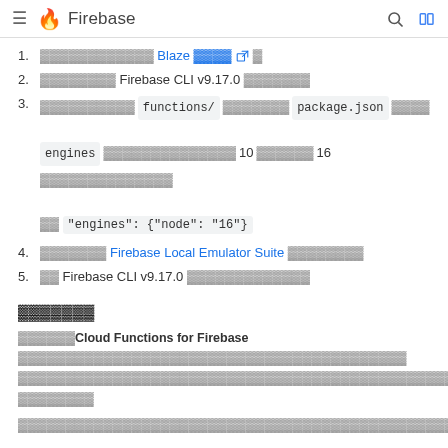Firebase
1. [JP text] Blaze [JP text] [external link icon]
2. [JP text] Firebase CLI v9.17.0 [JP text]
3. [JP text] functions/ [JP text] package.json [JP text] engines [JP text] 10 [JP text] 16[JP text] [JP text] "engines": {"node": "16"}
4. [JP text] Firebase Local Emulator Suite [JP text]
5. [JP text] Firebase CLI v9.17.0 [JP text]
[JP text]
[JP text] Cloud Functions for Firebase [JP text]
[JP text]